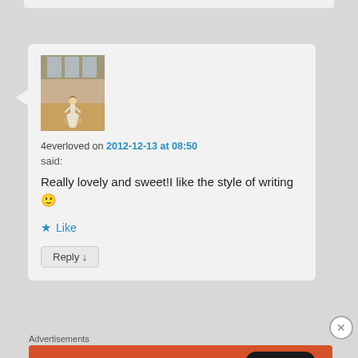4everloved on 2012-12-13 at 08:50 said:
Really lovely and sweet!I like the style of writing 🙂
★ Like
Reply ↓
Advertisements
[Figure (screenshot): DuckDuckGo advertisement banner with orange background showing phone mockup and text: Search, browse, and email with more privacy. All in One Free App]